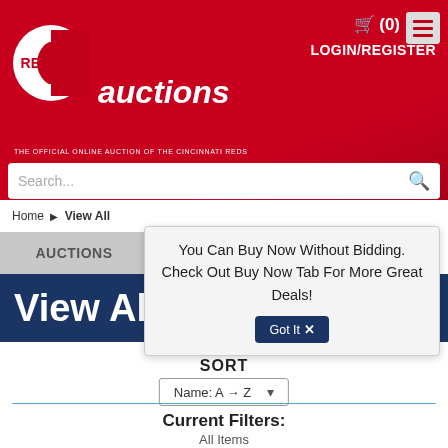[Figure (logo): Cincinnati Reds Auctions website header with red background, Reds C logo, auctions wordmark, shopping cart, login/register link, hamburger menu, and search bar]
Home ▶ View All
AUCTIONS
BUY NOW
View All
You Can Buy Now Without Bidding. Check Out Buy Now Tab For More Great Deals!
Got It ✕
SORT
Name: A → Z
Current Filters:
All Items